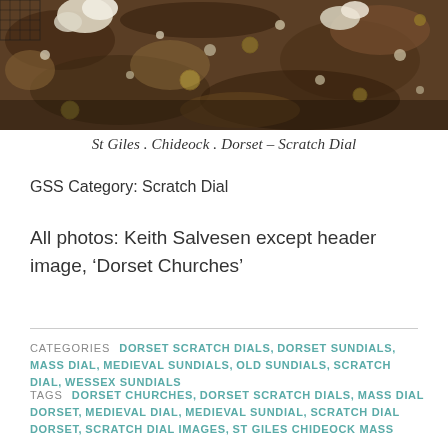[Figure (photo): Close-up photograph of a rough stone surface with barnacles and lichen, appears to be a scratch dial on church stonework.]
St Giles . Chideock . Dorset – Scratch Dial
GSS Category: Scratch Dial
All photos: Keith Salvesen except header image, 'Dorset Churches'
CATEGORIES  DORSET SCRATCH DIALS, DORSET SUNDIALS, MASS DIAL, MEDIEVAL SUNDIALS, OLD SUNDIALS, SCRATCH DIAL, WESSEX SUNDIALS
TAGS  DORSET CHURCHES, DORSET SCRATCH DIALS, MASS DIAL DORSET, MEDIEVAL DIAL, MEDIEVAL SUNDIAL, SCRATCH DIAL DORSET, SCRATCH DIAL IMAGES, ST GILES CHIDEOCK MASS